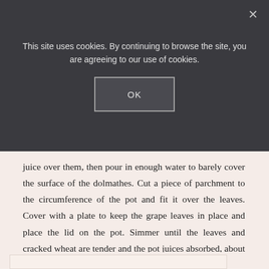This site uses cookies. By continuing to browse the site, you are agreeing to our use of cookies.
OK
juice over them, then pour in enough water to barely cover the surface of the dolmathes. Cut a piece of parchment to the circumference of the pot and fit it over the leaves. Cover with a plate to keep the grape leaves in place and place the lid on the pot. Simmer until the leaves and cracked wheat are tender and the pot juices absorbed, about 50 minutes. Remove from the heat and serve.
[Figure (photo): Partial view of an image at the bottom of the page, showing a light-colored box partially cut off]